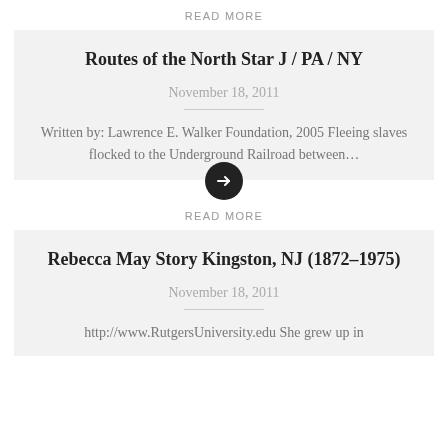READ MORE
Routes of the North Star J / PA / NY
November 18, 2011
Written by: Lawrence E. Walker Foundation, 2005 Fleeing slaves flocked to the Underground Railroad between…
READ MORE
Rebecca May Story Kingston, NJ (1872–1975)
November 18, 2011
http://www.RutgersUniversity.edu She grew up in